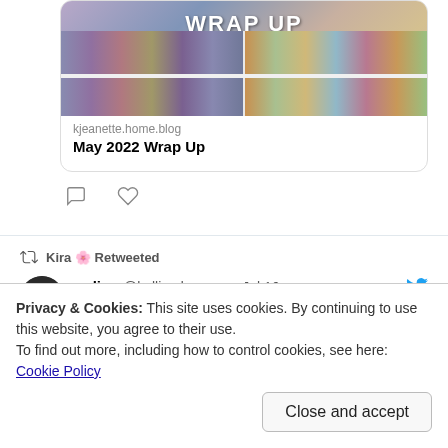[Figure (screenshot): Blog link card showing bookshelf image with 'WRAP UP' title text, domain kjeanette.home.blog, and title 'May 2022 Wrap Up']
kjeanette.home.blog
May 2022 Wrap Up
🔁 Kira 🌸 Retweeted
selina @kalliasdemarco · Jul 16
me, who writes in multiple povs, opening the doc: so who will suffer next
Privacy & Cookies: This site uses cookies. By continuing to use this website, you agree to their use.
To find out more, including how to control cookies, see here: Cookie Policy
Close and accept